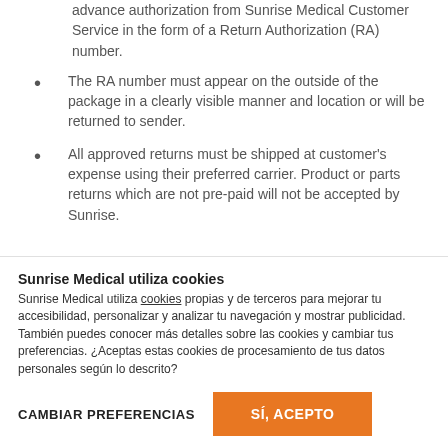advance authorization from Sunrise Medical Customer Service in the form of a Return Authorization (RA) number.
The RA number must appear on the outside of the package in a clearly visible manner and location or will be returned to sender.
All approved returns must be shipped at customer's expense using their preferred carrier. Product or parts returns which are not pre-paid will not be accepted by Sunrise.
Sunrise Medical utiliza cookies
Sunrise Medical utiliza cookies propias y de terceros para mejorar tu accesibilidad, personalizar y analizar tu navegación y mostrar publicidad. También puedes conocer más detalles sobre las cookies y cambiar tus preferencias. ¿Aceptas estas cookies de procesamiento de tus datos personales según lo descrito?
CAMBIAR PREFERENCIAS
SÍ, ACEPTO